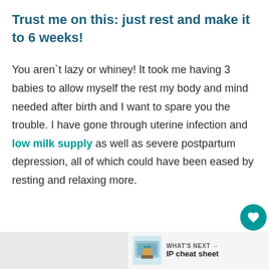Trust me on this: just rest and make it to 6 weeks!
You aren`t lazy or whiney! It took me having 3 babies to allow myself the rest my body and mind needed after birth and I want to spare you the trouble. I have gone through uterine infection and low milk supply as well as severe postpartum depression, all of which could have been eased by resting and relaxing more.